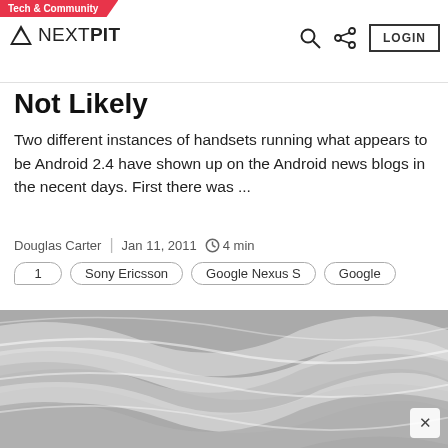Tech & Community | NEXTPIT | LOGIN
Not Likely
Two different instances of handsets running what appears to be Android 2.4 have shown up on the Android news blogs in the necent days. First there was ...
Douglas Carter  |  Jan 11, 2011  4 min
1  Sony Ericsson  Google Nexus S  Google
[Figure (illustration): Abstract wavy grey and white flowing pattern image]